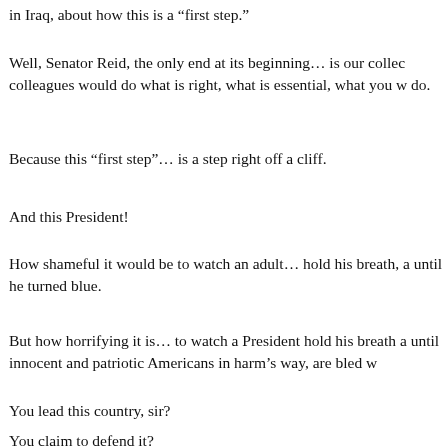in Iraq, about how this is a “first step.”
Well, Senator Reid, the only end at its beginning… is our collec colleagues would do what is right, what is essential, what you w do.
Because this “first step”… is a step right off a cliff.
And this President!
How shameful it would be to watch an adult… hold his breath, a until he turned blue.
But how horrifying it is… to watch a President hold his breath a until innocent and patriotic Americans in harm’s way, are bled w
You lead this country, sir?
You claim to defend it?